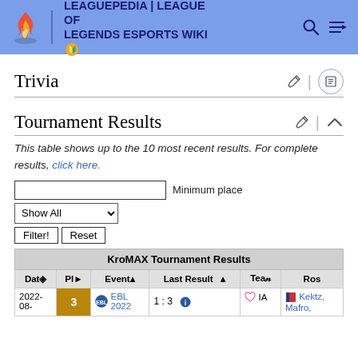LEAGUEPEDIA | LEAGUE OF LEGENDS ESPORTS WIKI
Trivia
Tournament Results
This table shows up to the 10 most recent results. For complete results, click here.
| Date | Pl | Event | Last Result | Team | Ros |
| --- | --- | --- | --- | --- | --- |
| 2022-08- | 3 | EBL 2022 | 1 : 3 |  | Kektz, IA, Mafro, |